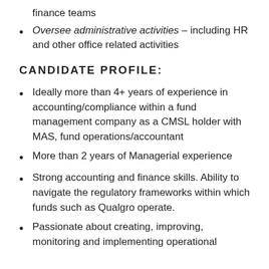finance teams
Oversee administrative activities – including HR and other office related activities
CANDIDATE PROFILE:
Ideally more than 4+ years of experience in accounting/compliance within a fund management company as a CMSL holder with MAS, fund operations/accountant
More than 2 years of Managerial experience
Strong accounting and finance skills. Ability to navigate the regulatory frameworks within which funds such as Qualgro operate.
Passionate about creating, improving, monitoring and implementing operational